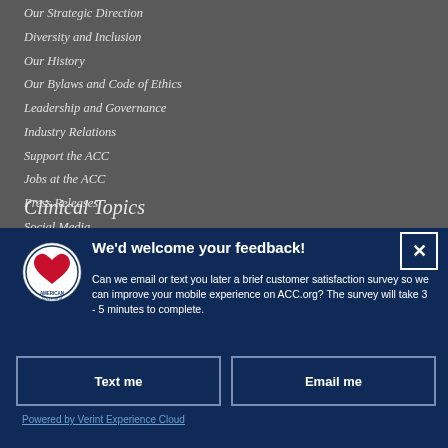Our Strategic Direction
Diversity and Inclusion
Our History
Our Bylaws and Code of Ethics
Leadership and Governance
Industry Relations
Support the ACC
Jobs at the ACC
Press Releases
Social Media
Book Our Conference Center
Clinical Topics
[Figure (logo): American College of Cardiology circular logo with a heart graphic]
We'd welcome your feedback!
Can we email or text you later a brief customer satisfaction survey so we can improve your mobile experience on ACC.org? The survey will take 3 - 5 minutes to complete.
Text me
Email me
Powered by Verint Experience Cloud